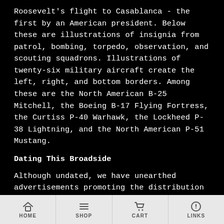Roosevelt's flight to Casablanca - the first by an American president. Below these are illustrations of insignia from patrol, bombing, torpedo, observation, and scouting squadrons. Illustrations of twenty-six military aircraft create the left, right, and bottom borders. Among these are the North American B-25 Mitchell, the Boeing B-17 Flying Fortress, the Curtiss P-40 Warhawk, the Lockheed P-38 Lightning, and the North American P-51 Mustang.
Dating This Broadside
Although undated, we have unearthed advertisements promoting the distribution of this map in Boy's Life and Life magazines from November 1943.
Publication History and Census
This broadside was created by F.E. Cheeseman and
HOME  SHOP  CART  LINKS